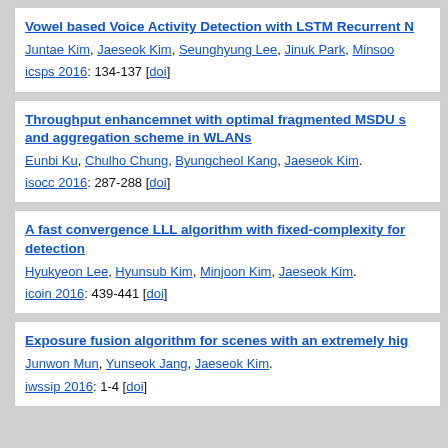Vowel based Voice Activity Detection with LSTM Recurrent N...
Juntae Kim, Jaeseok Kim, Seunghyung Lee, Jinuk Park, Minsoo...
icsps 2016: 134-137 [doi]
Throughput enhancemnet with optimal fragmented MSDU s... and aggregation scheme in WLANs
Eunbi Ku, Chulho Chung, Byungcheol Kang, Jaeseok Kim.
isocc 2016: 287-288 [doi]
A fast convergence LLL algorithm with fixed-complexity for... detection
Hyukyeon Lee, Hyunsub Kim, Minjoon Kim, Jaeseok Kim.
icoin 2016: 439-441 [doi]
Exposure fusion algorithm for scenes with an extremely hig...
Junwon Mun, Yunseok Jang, Jaeseok Kim.
iwssip 2016: 1-4 [doi]